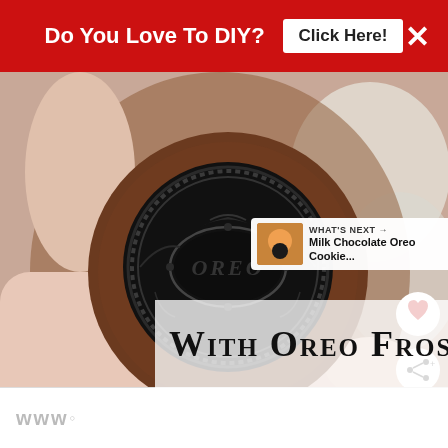Do You Love To DIY? Click Here! ×
[Figure (photo): Close-up photo of a hand holding an Oreo cookie brownie bite. The front of the Oreo wafer is visible pressed into the chocolate brownie, showing the embossed OREO logo. The background is blurred with white frosting visible.]
WHAT'S NEXT → Milk Chocolate Oreo Cookie...
With Oreo Frosting